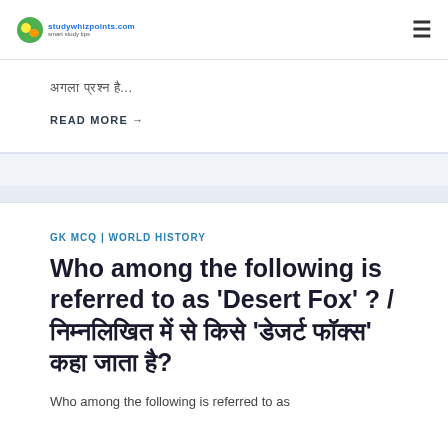studywhizpoints.com | ☰
अगला प्रशन है...
READ MORE →
GK MCQ | WORLD HISTORY
Who among the following is referred to as 'Desert Fox' ? / निम्नलिखित में से किसे 'डेजर्ट फॉक्स' कहा जाता है?
Who among the following is referred to as